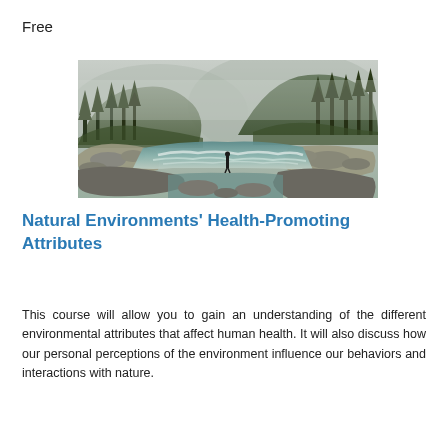Free
[Figure (photo): A misty river valley scene with a person standing on rocks beside a rushing river, surrounded by dense pine forest and mountains shrouded in fog.]
Natural Environments' Health-Promoting Attributes
This course will allow you to gain an understanding of the different environmental attributes that affect human health. It will also discuss how our personal perceptions of the environment influence our behaviors and interactions with nature.